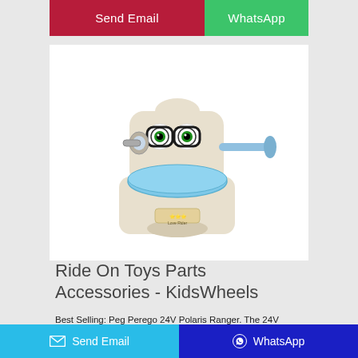[Figure (other): Two buttons: 'Send Email' (dark red/crimson background) and 'WhatsApp' (green background) at the top of a mobile web page card]
[Figure (photo): A children's ride-on toy shaped like a toilet/potty chair with a cute owl face, blue seat, and a blue handle/arm extending to the right. Beige/cream colored plastic body.]
Ride On Toys Parts Accessories - KidsWheels
Best Selling: Peg Perego 24V Polaris Ranger. The 24V Polaris Ranger by Peg Perego is by far our most popular ride on toy. It features a high output 24 Volt rechargeable battery which will allow the vehicle to travel over a wide variety of terrains at 3.5-7 mph. It is built tough and can haul 2 kids up to 150lbs in it's side-by-side bucket seats.
[Figure (other): Bottom bar with two buttons: 'Send Email' (cyan/teal background with envelope icon) and 'WhatsApp' (dark blue background with WhatsApp icon)]